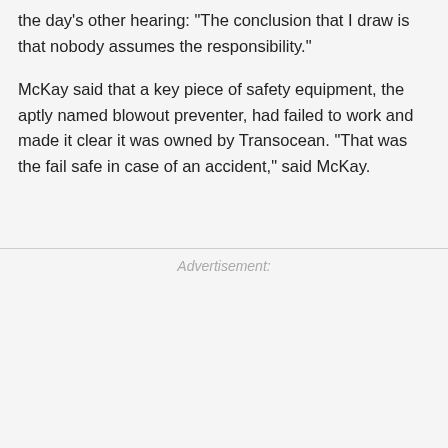the day's other hearing: "The conclusion that I draw is that nobody assumes the responsibility."
McKay said that a key piece of safety equipment, the aptly named blowout preventer, had failed to work and made it clear it was owned by Transocean. "That was the fail safe in case of an accident," said McKay.
Advertisement: